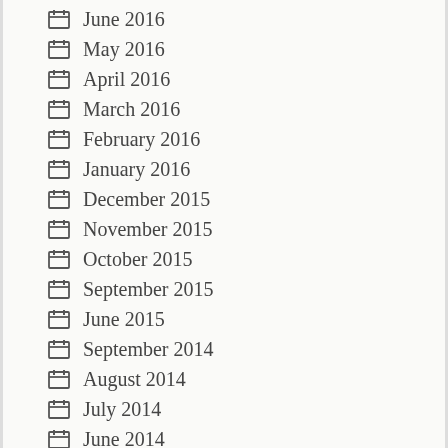June 2016
May 2016
April 2016
March 2016
February 2016
January 2016
December 2015
November 2015
October 2015
September 2015
June 2015
September 2014
August 2014
July 2014
June 2014
May 2014